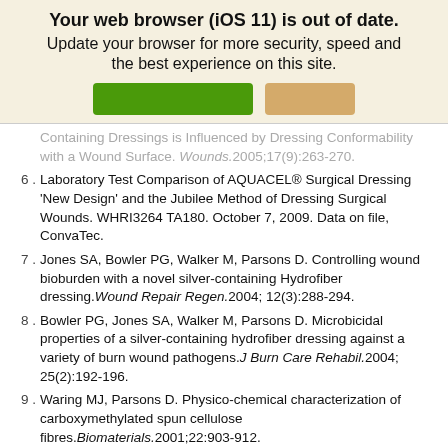[Figure (screenshot): Browser out-of-date banner with green and tan buttons on beige background]
Containing Dressings is Influenced by Dressing Conformability with a Wound Surface. Wounds.2005;17(9):263-270.
6. Laboratory Test Comparison of AQUACEL® Surgical Dressing 'New Design' and the Jubilee Method of Dressing Surgical Wounds. WHRI3264 TA180. October 7, 2009. Data on file, ConvaTec.
7. Jones SA, Bowler PG, Walker M, Parsons D. Controlling wound bioburden with a novel silver-containing Hydrofiber dressing.Wound Repair Regen.2004; 12(3):288-294.
8. Bowler PG, Jones SA, Walker M, Parsons D. Microbicidal properties of a silver-containing hydrofiber dressing against a variety of burn wound pathogens.J Burn Care Rehabil.2004; 25(2):192-196.
9. Waring MJ, Parsons D. Physico-chemical characterization of carboxymethylated spun cellulose fibres.Biomaterials.2001;22:903-912.
10. Walker M, Bowler PG, Cochrane CA. In vitro studies to show sequestration of matrix metalloproteinases by sliver-containing